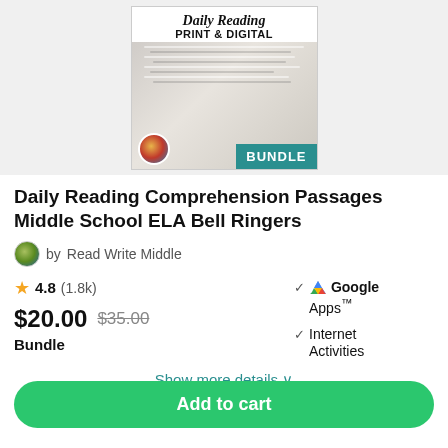[Figure (illustration): Product thumbnail image showing 'Daily Reading PRINT & DIGITAL BUNDLE' educational resource cover with papers and a BUNDLE badge]
Daily Reading Comprehension Passages Middle School ELA Bell Ringers
by Read Write Middle
4.8 (1.8k)
$20.00 $35.00
Bundle
✓ Google Apps™
✓ Internet Activities
Show more details ∨
Add to cart